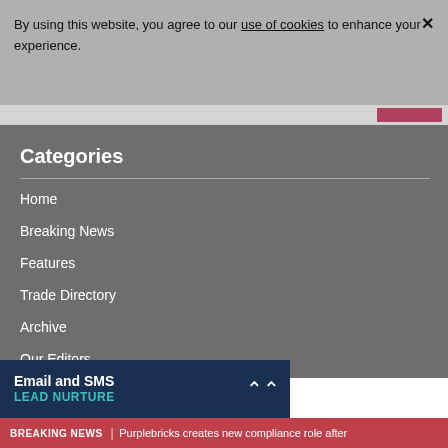By using this website, you agree to our use of cookies to enhance your experience. X
Categories
Home
Breaking News
Features
Trade Directory
Archive
Our Editors
60 Second Interview
Email and SMS LEAD NURTURE
BREAKING NEWS | Purplebricks creates new compliance role after